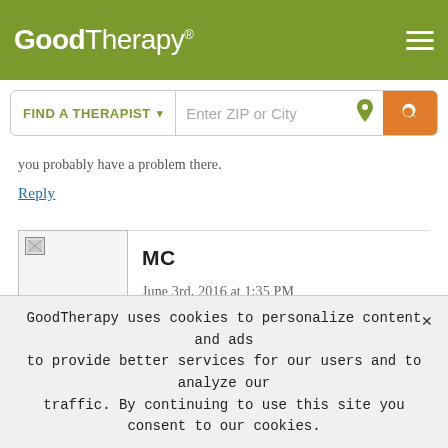[Figure (logo): GoodTherapy logo with hamburger menu on olive green header]
[Figure (screenshot): Search bar with FIND A THERAPIST dropdown and Enter ZIP or City input with orange search button]
you probably have a problem there.
Reply
MC
June 3rd, 2016 at 1:35 PM
When my husband and I were going through our divorce, I will truthfully admit that I probably ignored the kids.
This was something that the...
GoodTherapy uses cookies to personalize content and ads to provide better services for our users and to analyze our traffic. By continuing to use this site you consent to our cookies.